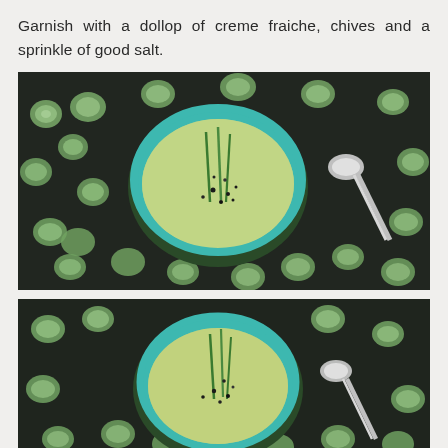Garnish with a dollop of creme fraiche, chives and a sprinkle of good salt.
[Figure (photo): Overhead/near-overhead photo of a teal and dark green ceramic bowl filled with pale green soup, garnished with long chives and black pepper. The bowl sits on a dark surface scattered with many cucumber slices. A silver spoon rests to the right of the bowl.]
[Figure (photo): Second photo from slightly different angle showing the same teal and dark green ceramic bowl with pale green soup, chives and black pepper garnish, surrounded by cucumber slices on a dark surface.]